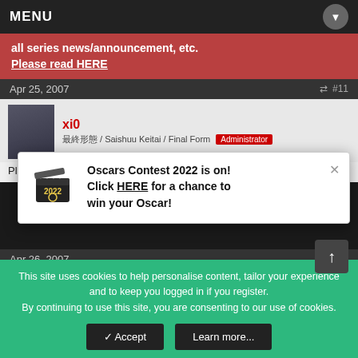MENU
all series news/announcement, etc. Please read HERE
Apr 25, 2007 #11
xi0 — 最終形態 / Saishuu Keitai / Final Form — Administrator
Please register to s[ee]
[Figure (screenshot): Oscars Contest 2022 popup with film clapper icon. Text: Oscars Contest 2022 is on! Click HERE for a chance to win your Oscar!]
Apr 26, 2007 #12
2ndKuron — Banned / [role text]
Please register to s[ee]
[Figure (screenshot): Mangahelpers Awards 2022 popup with gold star award icon. Text: It's back! MH presents a celebration of manga/anime culture; Mangahelpers Awards 2022 is NOW LIVE!]
Apr 26, 2007 #13
This site uses cookies to help personalise content, tailor your experience and to keep you logged in if you register. By continuing to use this site, you are consenting to our use of cookies.
✓ Accept
Learn more...